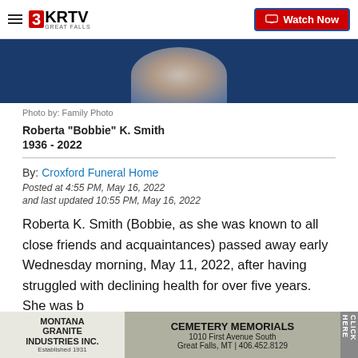3KRTV Great Falls | Watch Now
[Figure (photo): Partial obituary photo with blue background showing flowers or bouquet, blurred]
Photo by: Family Photo
Roberta "Bobbie" K. Smith
1936 - 2022
By: Croxford Funeral Home
Posted at 4:55 PM, May 16, 2022
and last updated 10:55 PM, May 16, 2022
Roberta K. Smith (Bobbie, as she was known to all close friends and acquaintances) passed away early Wednesday morning, May 11, 2022, after having struggled with declining health for over five years. She was b... Anch... on February 23,